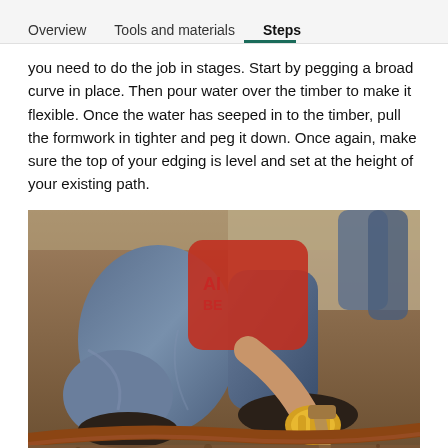Overview   Tools and materials   Steps
you need to do the job in stages. Start by pegging a broad curve in place. Then pour water over the timber to make it flexible. Once the water has seeped in to the timber, pull the formwork in tighter and peg it down. Once again, make sure the top of your edging is level and set at the height of your existing path.
[Figure (photo): Person kneeling on ground wearing jeans and yellow work gloves, hammering a wooden peg into curved timber edging set in dirt/soil for a garden path.]